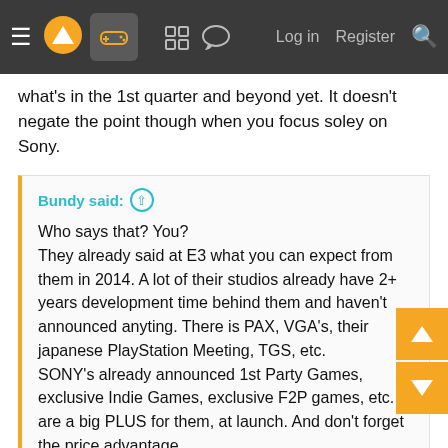Navigation bar with hamburger menu, logo, controller icon, grid icon, chat icon, Log in, Register, Search
what's in the 1st quarter and beyond yet. It doesn't negate the point though when you focus soley on Sony.
Bundy said: ↑

Who says that? You?
They already said at E3 what you can expect from them in 2014. A lot of their studios already have 2+ years development time behind them and haven't announced anyting. There is PAX, VGA's, their japanese PlayStation Meeting, TGS, etc.
SONY's already announced 1st Party Games, exclusive Indie Games, exclusive F2P games, etc. are a big PLUS for them, at launch. And don't forget the price advantage.
I say that as speculation on what their message is saying in between the lines. I'm not saying it for a fact; I'm saying that's how it comes off. We have Infamous in 1st Quarter 2014 assuming it doesn't get delayed, but outside of that, it really feels like we're not going to see anything big for at least 6